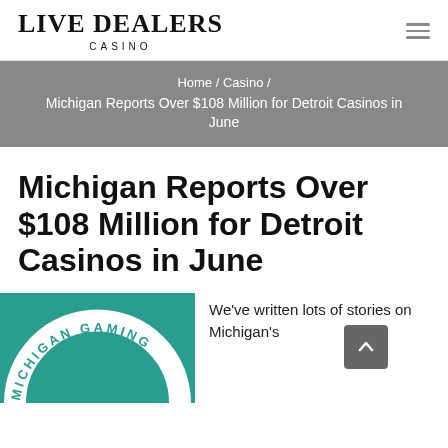LIVE DEALERS CASINO
Home / Casino / Michigan Reports Over $108 Million for Detroit Casinos in June
Michigan Reports Over $108 Million for Detroit Casinos in June
[Figure (logo): Michigan Gaming logo on teal/green circular badge]
We've written lots of stories on Michigan's